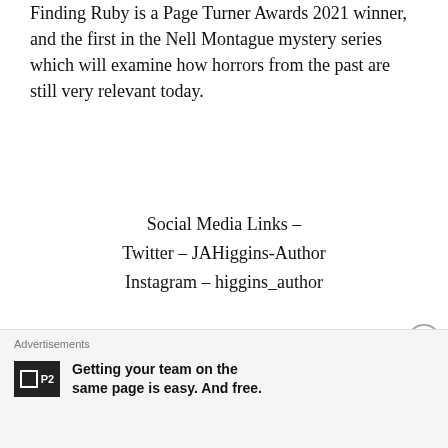Finding Ruby is a Page Turner Awards 2021 winner, and the first in the Nell Montague mystery series which will examine how horrors from the past are still very relevant today.
Social Media Links –
Twitter – JAHiggins-Author
Instagram – higgins_author
☆Giveaway☆
Win a signed copy of Finding Ruby and matching bookmark (Open to UK Only)
a Rafflecopter giveaway
Advertisements
Getting your team on the same page is easy. And free.